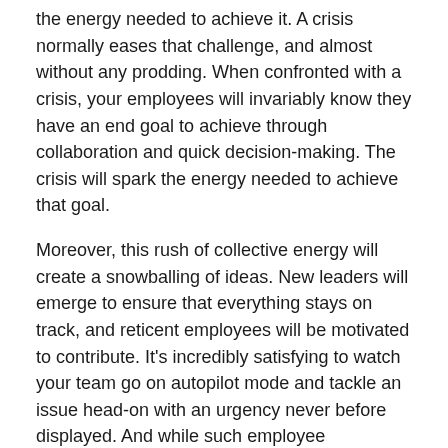the energy needed to achieve it. A crisis normally eases that challenge, and almost without any prodding. When confronted with a crisis, your employees will invariably know they have an end goal to achieve through collaboration and quick decision-making. The crisis will spark the energy needed to achieve that goal.
Moreover, this rush of collective energy will create a snowballing of ideas. New leaders will emerge to ensure that everything stays on track, and reticent employees will be motivated to contribute. It's incredibly satisfying to watch your team go on autopilot mode and tackle an issue head-on with an urgency never before displayed. And while such employee innovations are inspired by, and designed to solve, an urgent problem, I believe they reflect at heart our innate desire as human beings to serve those in need.
The pandemic has repeatedly displayed this urgent sense of innovativeness and togetherness. When grocery